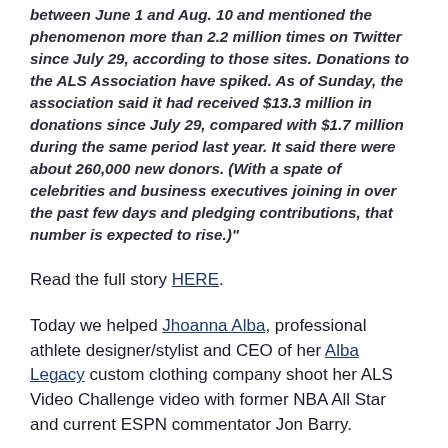between June 1 and Aug. 10 and mentioned the phenomenon more than 2.2 million times on Twitter since July 29, according to those sites. Donations to the ALS Association have spiked. As of Sunday, the association said it had received $13.3 million in donations since July 29, compared with $1.7 million during the same period last year. It said there were about 260,000 new donors. (With a spate of celebrities and business executives joining in over the past few days and pledging contributions, that number is expected to rise.)"
Read the full story HERE.
Today we helped Jhoanna Alba, professional athlete designer/stylist and CEO of her Alba Legacy custom clothing company shoot her ALS Video Challenge video with former NBA All Star and current ESPN commentator Jon Barry.